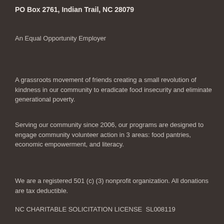PO Box 2761, Indian Trail, NC 28079
An Equal Opportunity Employer
A grassroots movement of friends creating a small revolution of kindness in our community to eradicate food insecurity and eliminate generational poverty.
Serving our community since 2006, our programs are designed to engage community volunteer action in 3 areas: food pantries, economic empowerment, and literacy.
We are a registered 501 (c) (3) nonprofit organization.  All donations are tax deductible.
NC CHARITABLE SOLICITATION LICENSE  SL008119